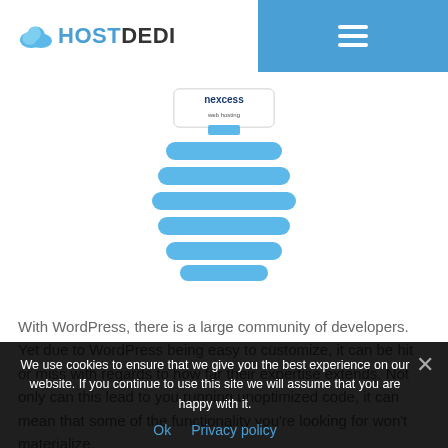HOSTDEDI
[Figure (illustration): Nexcess branded illustration showing a stylized lightbulb/coil shape made of blue horizontal bars with a Nexcess label at the top]
With WordPress, there is a large community of developers. Yet due to WordPress being easy to customize, it can be hit or miss with regards to how far their expertise extends. Not only can this lead to you running unoptimized code, it can mean that some of the functionality you’re looking for won’t materialize.
We use cookies to ensure that we give you the best experience on our website. If you continue to use this site we will assume that you are happy with it.
Ok   Privacy policy